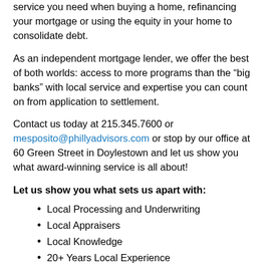service you need when buying a home, refinancing your mortgage or using the equity in your home to consolidate debt.
As an independent mortgage lender, we offer the best of both worlds: access to more programs than the “big banks” with local service and expertise you can count on from application to settlement.
Contact us today at 215.345.7600 or mesposito@phillyadvisors.com or stop by our office at 60 Green Street in Doylestown and let us show you what award-winning service is all about!
Let us show you what sets us apart with:
Local Processing and Underwriting
Local Appraisers
Local Knowledge
20+ Years Local Experience
Second Home Financing
Jumbo Loans (loans over $417,000)